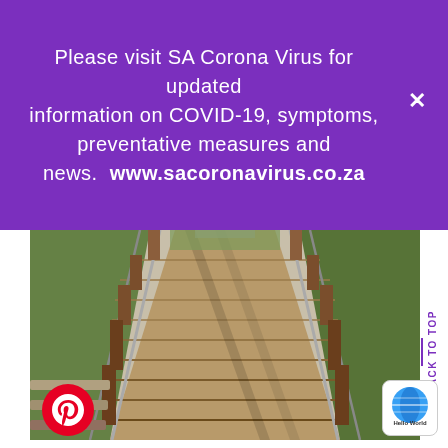Please visit SA Corona Virus for updated information on COVID-19, symptoms, preventative measures and news.  www.sacoronavirus.co.za
[Figure (photo): Photo of a wooden boardwalk/bridge with timber railings and posts, leading into the distance, with green grass on either side, taken from ground level perspective.]